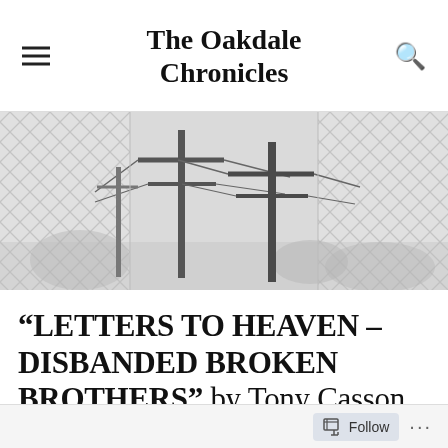The Oakdale Chronicles
[Figure (illustration): A pencil-drawn illustration showing power line poles seen through a chain-link fence, misty background with trees, grayscale artwork]
“LETTERS TO HEAVEN – DISBANDED BROKEN BROTHERS” by Tony Casson
Follow